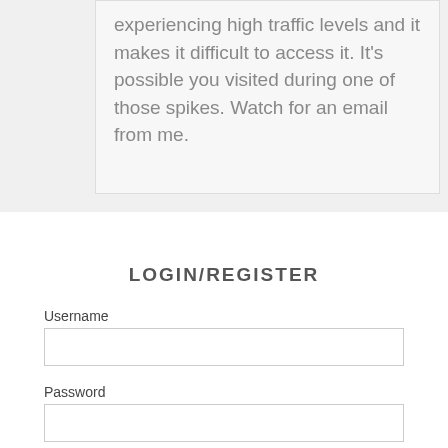experiencing high traffic levels and it makes it difficult to access it. It's possible you visited during one of those spikes. Watch for an email from me.
LOGIN/REGISTER
Username
Password